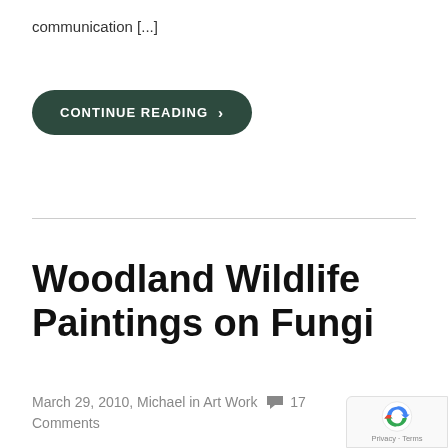communication [...]
[Figure (other): Dark green rounded pill-shaped button with white uppercase text 'CONTINUE READING' and a right-pointing chevron arrow]
Woodland Wildlife Paintings on Fungi
March 29, 2010, Michael in Art Work  💬 17 Comments
[Figure (logo): Google reCAPTCHA badge with blue/red/green circular arrow logo and 'Privacy - Terms' text]